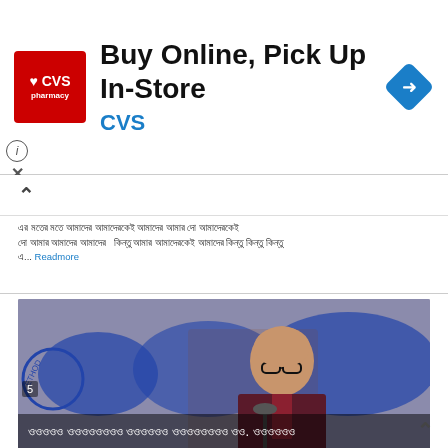[Figure (photo): CVS Pharmacy advertisement banner with logo, title 'Buy Online, Pick Up In-Store', CVS brand name, and navigation arrow icon]
[Bengali text paragraph 1 - article snippet with Readmore link]
[Figure (photo): Man in dark suit speaking at a microphone in front of a banner with Bengali/blue calligraphy text. Overlay text in Bengali script. Number 5 badge visible.]
[Bengali text paragraph 2 - article snippet with Readmore link]